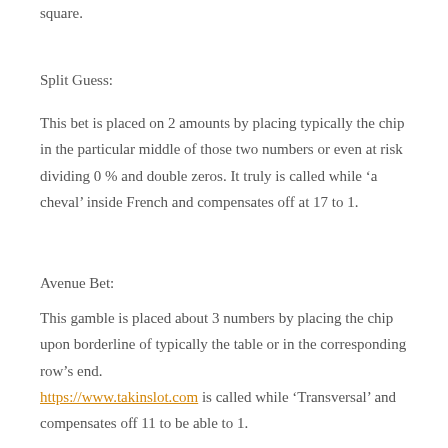square.
Split Guess:
This bet is placed on 2 amounts by placing typically the chip in the particular middle of those two numbers or even at risk dividing 0 % and double zeros. It truly is called while ‘a cheval’ inside French and compensates off at 17 to 1.
Avenue Bet:
This gamble is placed about 3 numbers by placing the chip upon borderline of typically the table or in the corresponding row’s end. https://www.takinslot.com is called while ‘Transversal’ and compensates off 11 to be able to 1.